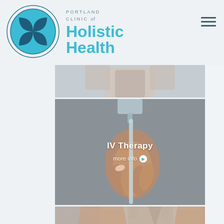[Figure (logo): Portland Clinic of Holistic Health logo — teal circle with four dark blue leaf/petal shapes arranged in a 2x2 grid, double circle border]
PORTLAND CLINIC of Holistic Health
[Figure (photo): Partial photo of a person raising their arms, visible from waist up, cropped at top]
[Figure (photo): Photo of a hand holding an IV therapy syringe/drip tube, with overlay text 'IV Therapy' and 'more info >']
[Figure (photo): Partial photo of a person's torso in a beige top, cropped]